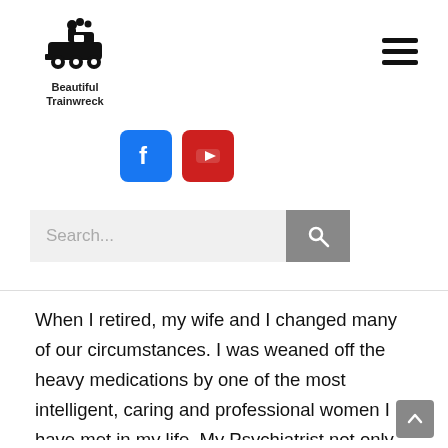[Figure (logo): Steam train locomotive icon in black with smoke puffs]
Beautiful Trainwreck
[Figure (other): Hamburger menu icon (three horizontal lines)]
[Figure (other): Facebook blue square icon and YouTube red square icon social media buttons]
[Figure (other): Search bar with text field showing 'Search...' placeholder and grey search button with magnifying glass icon]
When I retired, my wife and I changed many of our circumstances. I was weaned off the heavy medications by one of the most intelligent, caring and professional women I have met in my life. My Psychiatrist not only listened to my concerns regarding my medication